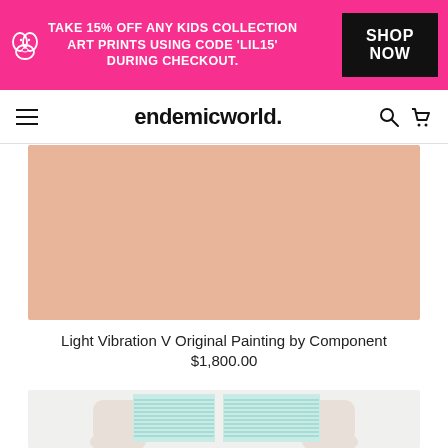TAKE 15% OFF ANY KIDS COLLECTION ART PRINTS USING CODE 'LIL15' DURING CHECKOUT. SHOP NOW
endemicworld.
[Figure (photo): Product image placeholder with salmon/peach background color]
Light Vibration V Original Painting by Component
$1,800.00
[Figure (photo): Gloved hands holding a light blue artwork with horizontal line texture against white background]